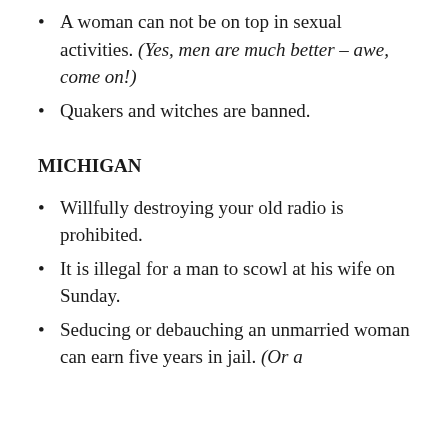A woman can not be on top in sexual activities. (Yes, men are much better – awe, come on!)
Quakers and witches are banned.
MICHIGAN
Willfully destroying your old radio is prohibited.
It is illegal for a man to scowl at his wife on Sunday.
Seducing or debauching an unmarried woman can earn five years in jail. (Or a